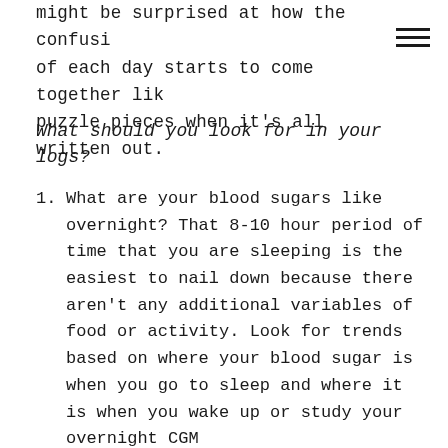might be surprised at how the confusion of each day starts to come together like puzzle pieces when it's all written out.
What should you look for in your logs?
1. What are your blood sugars like overnight? That 8-10 hour period of time that you are sleeping is the easiest to nail down because there aren't any additional variables of food or activity. Look for trends based on where your blood sugar is when you go to sleep and where it is when you wake up or study your overnight CGM